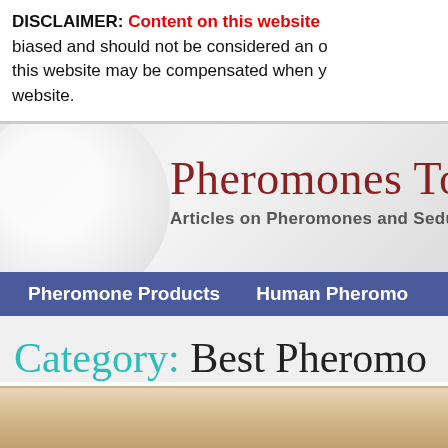DISCLAIMER: Content on this website biased and should not be considered an o... this website may be compensated when y... website.
[Figure (screenshot): Website banner/header for 'Pheromones Today' with subtitle 'Articles on Pheromones and Sedu...' on a gray gradient background with a circular decorative element]
Pheromone Products   Human Pheromo...
Category: Best Pheromo...
[Figure (photo): Partial photo of a person, appearing to be a sepia/warm-toned portrait, cropped at bottom of page]